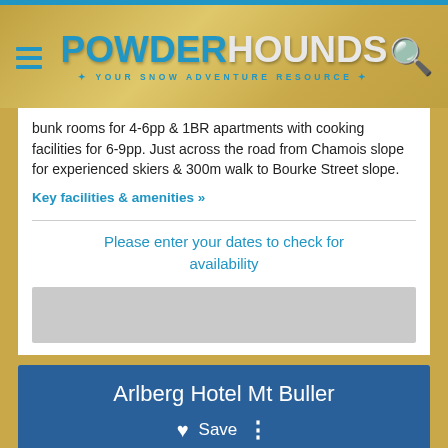POWDERHOUNDS - YOUR SNOW ADVENTURE RESOURCE
bunk rooms for 4-6pp & 1BR apartments with cooking facilities for 6-9pp. Just across the road from Chamois slope for experienced skiers & 300m walk to Bourke Street slope.
Key facilities & amenities »
Please enter your dates to check for availability
Arlberg Hotel Mt Buller
♥ Save ⋮
SKI IN SKI OUT
Hotel rooms, 1-3BR apartments